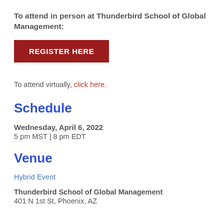To attend in person at Thunderbird School of Global Management:
[Figure (other): Red button with white text reading REGISTER HERE]
To attend virtually, click here.
Schedule
Wednesday, April 6, 2022
5 pm MST | 8 pm EDT
Venue
Hybrid Event
Thunderbird School of Global Management
401 N 1st St, Phoenix, AZ